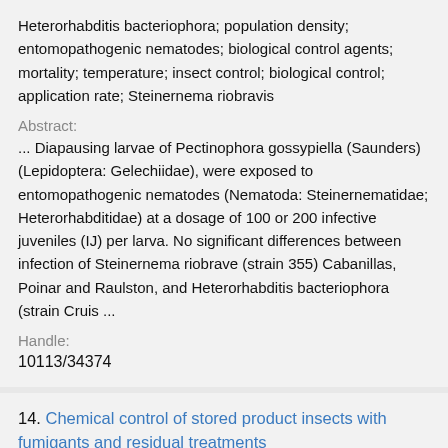Heterorhabditis bacteriophora; population density; entomopathogenic nematodes; biological control agents; mortality; temperature; insect control; biological control; application rate; Steinernema riobravis
Abstract:
... Diapausing larvae of Pectinophora gossypiella (Saunders) (Lepidoptera: Gelechiidae), were exposed to entomopathogenic nematodes (Nematoda: Steinernematidae; Heterorhabditidae) at a dosage of 100 or 200 infective juveniles (IJ) per larva. No significant differences between infection of Steinernema riobrave (strain 355) Cabanillas, Poinar and Raulston, and Heterorhabditis bacteriophora (strain Cruis ...
Handle:
10113/34374
14. Chemical control of stored product insects with fumigants and residual treatments